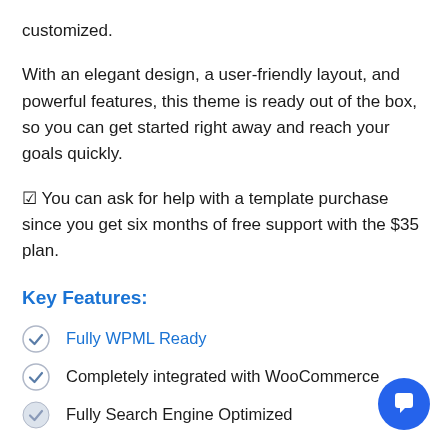customized.
With an elegant design, a user-friendly layout, and powerful features, this theme is ready out of the box, so you can get started right away and reach your goals quickly.
☑ You can ask for help with a template purchase since you get six months of free support with the $35 plan.
Key Features:
Fully WPML Ready
Completely integrated with WooCommerce
Fully Search Engine Optimized